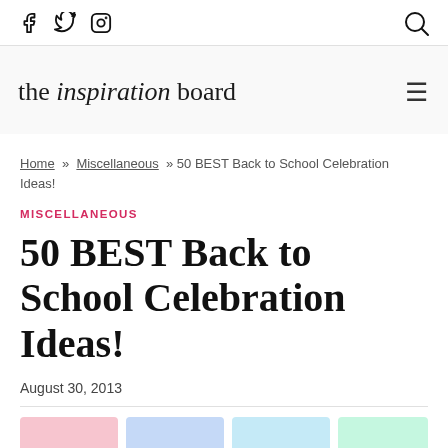Social icons: Facebook, Twitter, Instagram | Search icon
[Figure (logo): The Inspiration Board logo — text reading 'the inspiration board' with 'inspiration' in italic script style, plus hamburger menu icon on the right]
Home » Miscellaneous » 50 BEST Back to School Celebration Ideas!
MISCELLANEOUS
50 BEST Back to School Celebration Ideas!
August 30, 2013